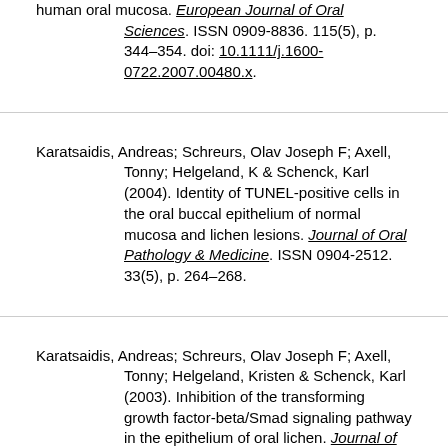human oral mucosa. European Journal of Oral Sciences. ISSN 0909-8836. 115(5), p. 344–354. doi: 10.1111/j.1600-0722.2007.00480.x.
Karatsaidis, Andreas; Schreurs, Olav Joseph F; Axell, Tonny; Helgeland, K & Schenck, Karl (2004). Identity of TUNEL-positive cells in the oral buccal epithelium of normal mucosa and lichen lesions. Journal of Oral Pathology & Medicine. ISSN 0904-2512. 33(5), p. 264–268.
Karatsaidis, Andreas; Schreurs, Olav Joseph F; Axell, Tonny; Helgeland, Kristen & Schenck, Karl (2003). Inhibition of the transforming growth factor-beta/Smad signaling pathway in the epithelium of oral lichen. Journal of Investigative Dermatology. ISSN 0022-202X. 121(6), p. 1283–1290.